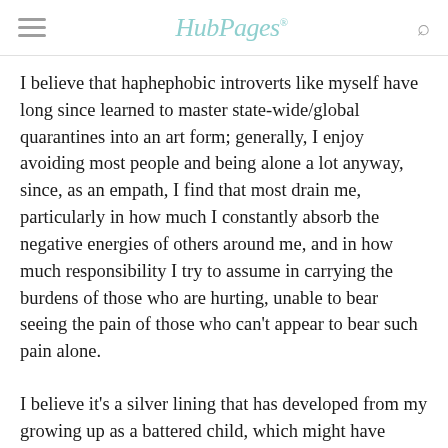HubPages
I believe that haphephobic introverts like myself have long since learned to master state-wide/global quarantines into an art form; generally, I enjoy avoiding most people and being alone a lot anyway, since, as an empath, I find that most drain me, particularly in how much I constantly absorb the negative energies of others around me, and in how much responsibility I try to assume in carrying the burdens of those who are hurting, unable to bear seeing the pain of those who can't appear to bear such pain alone.
I believe it's a silver lining that has developed from my growing up as a battered child, which might have created my sensitivity to the feelings and pain that my fellow humans endure; it takes a toll on me to where I undergo frequent fainting spells and can sometimes barely even walk for days at a time; and so, keeping to myself as much as humanly possible is how I get my recharge energy...and,